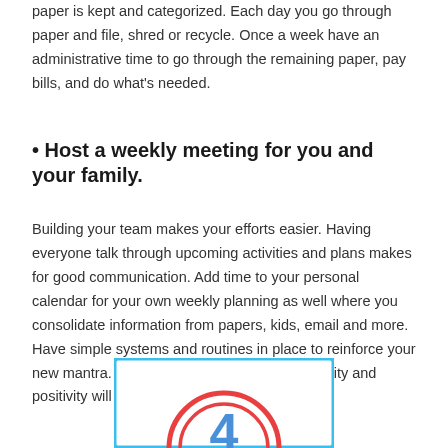paper is kept and categorized. Each day you go through paper and file, shred or recycle. Once a week have an administrative time to go through the remaining paper, pay bills, and do what's needed.
• Host a weekly meeting for you and your family.
Building your team makes your efforts easier. Having everyone talk through upcoming activities and plans makes for good communication. Add time to your personal calendar for your own weekly planning as well where you consolidate information from papers, kids, email and more.
Have simple systems and routines in place to reinforce your new mantra. Your sense of efficiency, productivity and positivity will grow as a result too!
[Figure (illustration): A number '4' inside a red circular design, enclosed in a light blue square border — appears to be a section or step marker graphic, partially visible at the bottom of the page.]